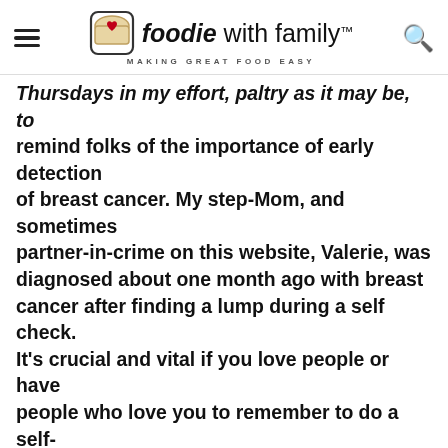foodie with family™ — MAKING GREAT FOOD EASY
Thursdays in my effort, paltry as it may be, to remind folks of the importance of early detection of breast cancer. My step-Mom, and sometimes partner-in-crime on this website, Valerie, was diagnosed about one month ago with breast cancer after finding a lump during a self check. It's crucial and vital if you love people or have people who love you to remember to do a self-check monthly. If you don't know how to perform a self-exam on your breasts, visit here, here or here among other places. And  a reminder to my male readers, because I have faith that there are